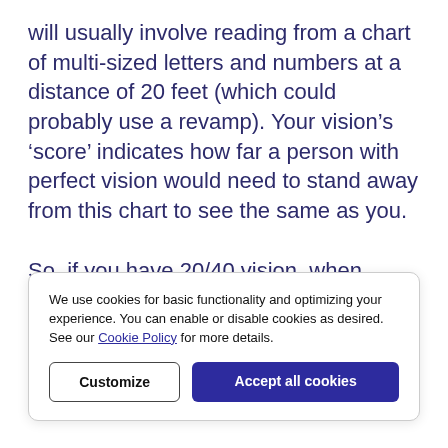will usually involve reading from a chart of multi-sized letters and numbers at a distance of 20 feet (which could probably use a revamp). Your vision's 'score' indicates how far a person with perfect vision would need to stand away from this chart to see the same as you.

So, if you have 20/40 vision, when you're 20 feet from the chart you'll see what someone
We use cookies for basic functionality and optimizing your experience. You can enable or disable cookies as desired. See our Cookie Policy for more details.